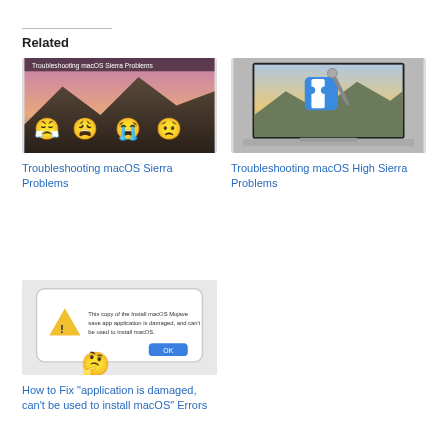Related
[Figure (screenshot): Thumbnail image for 'Troubleshooting macOS Sierra Problems' showing mountain landscape with emoji faces]
Troubleshooting macOS Sierra Problems
[Figure (screenshot): Thumbnail image for 'Troubleshooting macOS High Sierra Problems' showing laptop with Finder icon and tools]
Troubleshooting macOS High Sierra Problems
[Figure (screenshot): Thumbnail image for 'How to Fix application is damaged' showing a macOS error dialog with warning icon and thinking emoji]
How to Fix "application is damaged, can't be used to install macOS" Errors